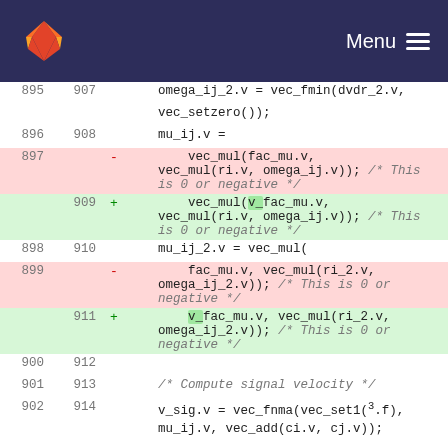GitLab — Menu
[Figure (screenshot): Code diff view showing source code changes with line numbers, removed lines (red background) and added lines (green background). Code involves vector math operations: omega_ij_2.v, mu_ij.v, vec_mul, fac_mu, ri.v, omega_ij.v, mu_ij_2.v, fac_mu.v, ri_2.v, omega_ij_2.v, v_fac_mu.v replacements, and v_sig.v computation.]